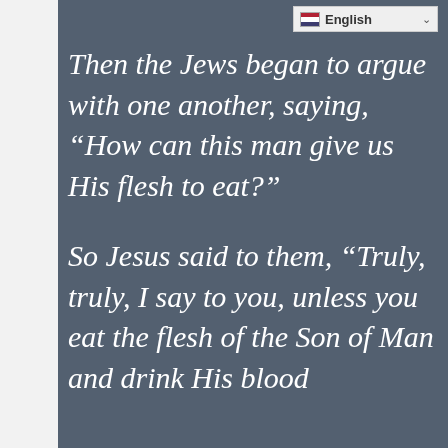[Figure (screenshot): Language selector widget showing flag icon and 'English' text with dropdown arrow]
Then the Jews began to argue with one another, saying, “How can this man give us His flesh to eat?”
So Jesus said to them, “Truly, truly, I say to you, unless you eat the flesh of the Son of Man and drink His blood